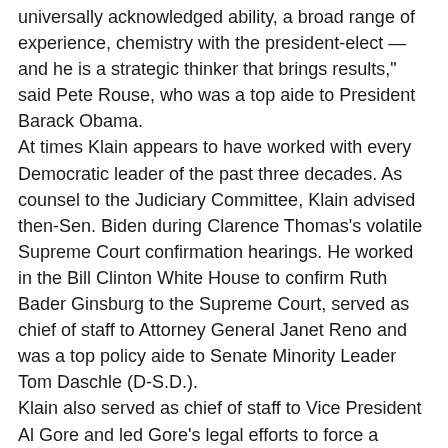universally acknowledged ability, a broad range of experience, chemistry with the president-elect — and he is a strategic thinker that brings results," said Pete Rouse, who was a top aide to President Barack Obama.
At times Klain appears to have worked with every Democratic leader of the past three decades. As counsel to the Judiciary Committee, Klain advised then-Sen. Biden during Clarence Thomas's volatile Supreme Court confirmation hearings. He worked in the Bill Clinton White House to confirm Ruth Bader Ginsburg to the Supreme Court, served as chief of staff to Attorney General Janet Reno and was a top policy aide to Senate Minority Leader Tom Daschle (D-S.D.).
Klain also served as chief of staff to Vice President Al Gore and led Gore's legal efforts to force a recount of Florida ballots after the 2000 election; actor Kevin Spacey played him in the 2008 movie “Recount.”
“People frequently tell me that I should ‘get over’ the 2000 election and the recount,” Klain tweeted in 2019. “I haven’t, and I don’t think I ever will.”
Along the way, Klain has developed a specialized role as the Democrats’ preeminent coach for presidential debates. He worked on debate preparations for Bill Clinton in 1992 and Gore in 2000, and he has led the debate prep for every